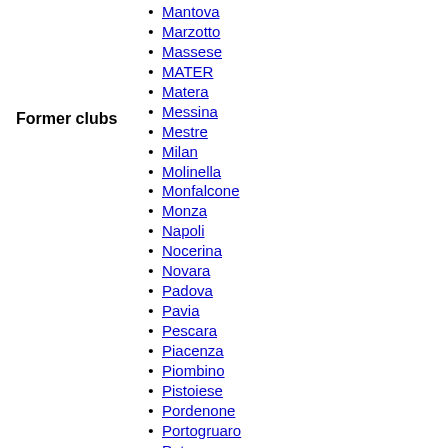Former clubs
Mantova
Marzotto
Massese
MATER
Matera
Messina
Mestre
Milan
Molinella
Monfalcone
Monza
Napoli
Nocerina
Novara
Padova
Pavia
Pescara
Piacenza
Piombino
Pistoiese
Pordenone
Portogruaro
Potenza
Prato
Pro Gorizia